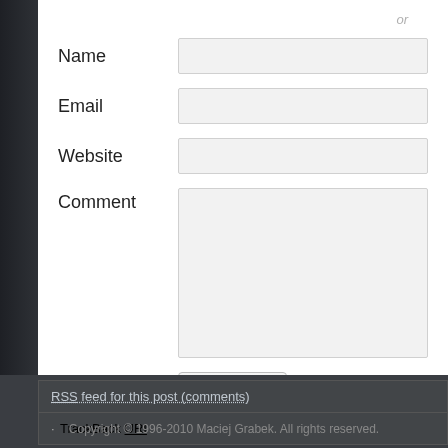or
Name
Email
Website
Comment
Post It
RSS feed for this post (comments)
· TrackBack URI
Copyright © 1996-2010 Maciej Grabek. All rights reserved.